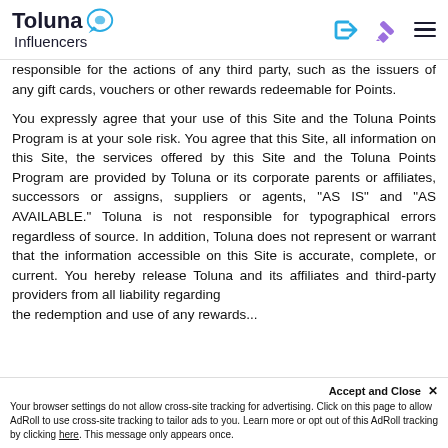Toluna Influencers
responsible for the actions of any third party, such as the issuers of any gift cards, vouchers or other rewards redeemable for Points.
You expressly agree that your use of this Site and the Toluna Points Program is at your sole risk. You agree that this Site, all information on this Site, the services offered by this Site and the Toluna Points Program are provided by Toluna or its corporate parents or affiliates, successors or assigns, suppliers or agents, "AS IS" and "AS AVAILABLE." Toluna is not responsible for typographical errors regardless of source. In addition, Toluna does not represent or warrant that the information accessible on this Site is accurate, complete, or current. You hereby release Toluna and its affiliates and third-party providers from all liability regarding the redemption and use of any rewards...
Accept and Close ✕ Your browser settings do not allow cross-site tracking for advertising. Click on this page to allow AdRoll to use cross-site tracking to tailor ads to you. Learn more or opt out of this AdRoll tracking by clicking here. This message only appears once.